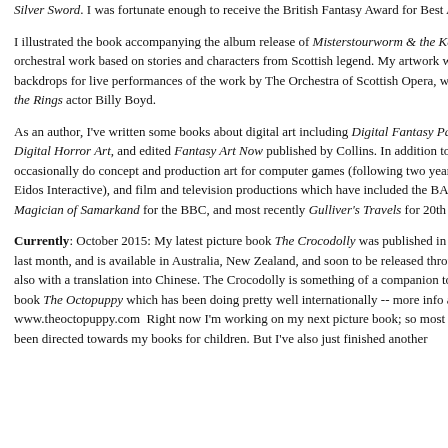Silver Sword. I was fortunate enough to receive the British Fantasy Award for Best Artist.
I illustrated the book accompanying the album release of Misterstourworm & the Kelpie's Gift, an orchestral work based on stories and characters from Scottish legend. My artwork was used as large-scale backdrops for live performances of the work by The Orchestra of Scottish Opera, with narration by Lord of the Rings actor Billy Boyd.
As an author, I've written some books about digital art including Digital Fantasy Painting Workshop and Digital Horror Art, and edited Fantasy Art Now published by Collins. In addition to work in publishing, I occasionally do concept and production art for computer games (following two years as an in-house artist at Eidos Interactive), and film and television productions which have included the BAFTA-nominated The Magician of Samarkand for the BBC, and most recently Gulliver's Travels for 20th Century Fox.
Currently: October 2015: My latest picture book The Crocodolly was published in hardback by Scholastic last month, and is available in Australia, New Zealand, and soon to be released throughout Asia in English, also with a translation into Chinese. The Crocodolly is something of a companion to my earlier picture book The Octopuppy which has been doing pretty well internationally -- more info at www.theoctopuppy.com  Right now I'm working on my next picture book; so most of my energies have been directed towards my books for children. But I've also just finished another
Tweet
Older Posts